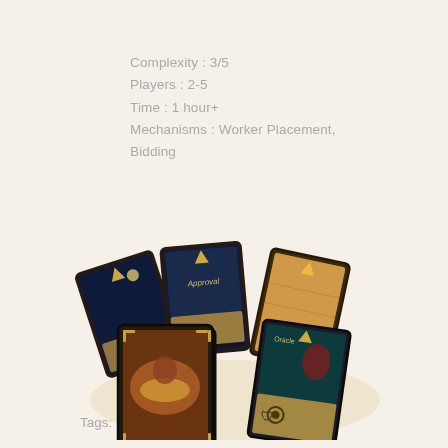Complexity : 3/5
Players : 2-5
Time : 1 hour+
Mechanisms : Worker Placement, Bidding
[Figure (photo): A spread of fantasy board game cards fanned out on a light surface. Several illustrated cards are visible face-up showing fantasy artwork, plus a face-down deck of cards. Cards have dark borders with golden accents and feature symbols and artwork.]
Tags: